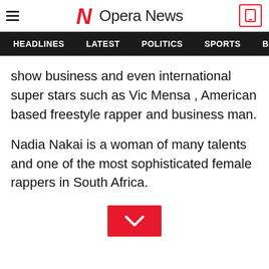Opera News
HEADLINES   LATEST   POLITICS   SPORTS   B
show business and even international super stars such as Vic Mensa , American based freestyle rapper and business man.
Nadia Nakai is a woman of many talents and one of the most sophisticated female rappers in South Africa.